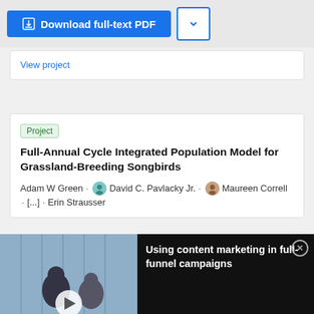Download full-text PDF
View project
Project
Full-Annual Cycle Integrated Population Model for Grassland-Breeding Songbirds
Adam W Green · David C. Pavlacky Jr. · Maureen Correll · [...] · Erin Strausser
[Figure (screenshot): Video thumbnail showing people in an office setting with text 'Using content marketing in full-funnel campaigns']
Using content marketing in full-funnel campaigns
[Figure (logo): Applied Biosystems logo with infinity symbol]
Free T-Shirt anyone?